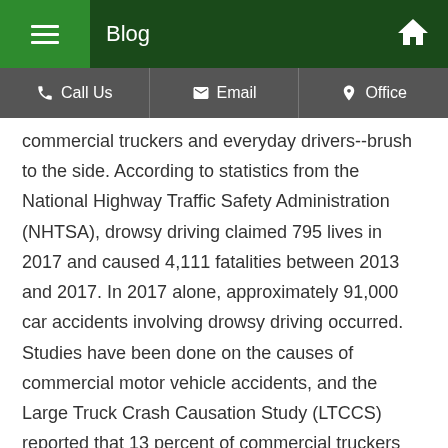Blog
Call Us | Email | Office
commercial truckers and everyday drivers--brush to the side. According to statistics from the National Highway Traffic Safety Administration (NHTSA), drowsy driving claimed 795 lives in 2017 and caused 4,111 fatalities between 2013 and 2017. In 2017 alone, approximately 91,000 car accidents involving drowsy driving occurred. Studies have been done on the causes of commercial motor vehicle accidents, and the Large Truck Crash Causation Study (LTCCS) reported that 13 percent of commercial truckers were considered to be fatigued at the time of their accident. While drowsy driving may not be the sole